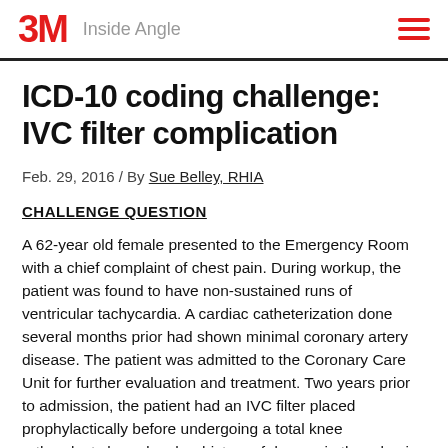3M Inside Angle
ICD-10 coding challenge: IVC filter complication
Feb. 29, 2016 / By Sue Belley, RHIA
CHALLENGE QUESTION
A 62-year old female presented to the Emergency Room with a chief complaint of chest pain. During workup, the patient was found to have non-sustained runs of ventricular tachycardia. A cardiac catheterization done several months prior had shown minimal coronary artery disease. The patient was admitted to the Coronary Care Unit for further evaluation and treatment. Two years prior to admission, the patient had an IVC filter placed prophylactically before undergoing a total knee arthroplasty based on her history of deep vein thrombosis of the lower extremity with pulmonary embolism. A CT scan of the abdomen was performed which